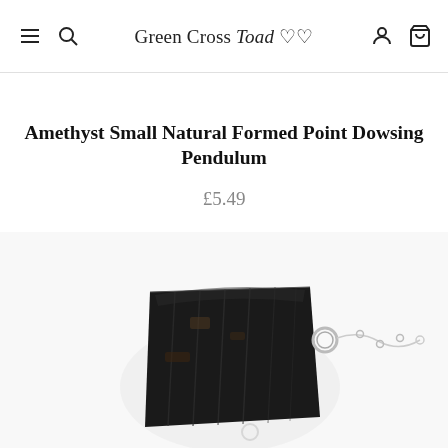Green Cross Toad
Amethyst Small Natural Formed Point Dowsing Pendulum
£5.49
[Figure (photo): Photo of a dark black tourmaline natural formed point dowsing pendulum with silver metal jump ring connector and chain, shown on a white background. Only the upper portion of the crystal and chain are visible.]